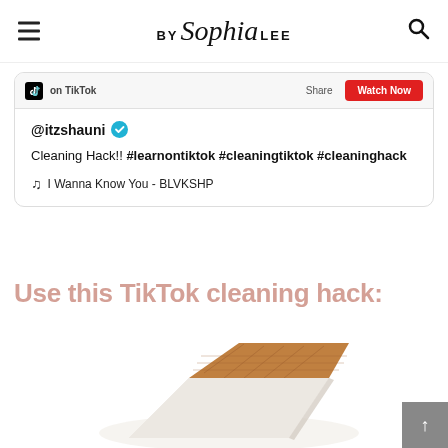BY Sophia LEE
[Figure (screenshot): TikTok embed card showing @itzshauni post with caption 'Cleaning Hack!! #learnontiktok #cleaningtiktok #cleaninghack' and music 'I Wanna Know You - BLVKSHP', with Watch Now button]
Use this TikTok cleaning hack:
[Figure (photo): A cleaning eraser sponge product, beige/brown textured top with white base, partially visible at bottom of page]